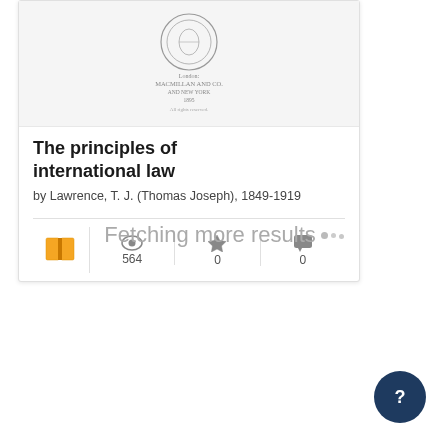[Figure (illustration): Book cover thumbnail for 'The principles of international law' showing a publisher's seal/logo and text 'London: MACMILLAN AND CO. AND NEW YORK 1895 ALL RIGHTS RESERVED']
The principles of international law
by Lawrence, T. J. (Thomas Joseph), 1849-1919
564 views, 0 favorites, 0 comments
Fetching more results